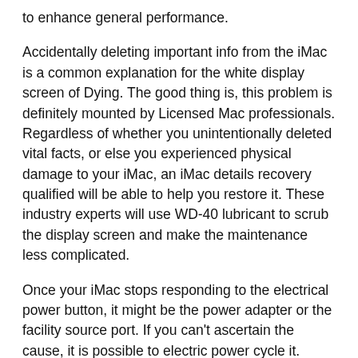to enhance general performance.
Accidentally deleting important info from the iMac is a common explanation for the white display screen of Dying. The good thing is, this problem is definitely mounted by Licensed Mac professionals. Regardless of whether you unintentionally deleted vital facts, or else you experienced physical damage to your iMac, an iMac details recovery qualified will be able to help you restore it. These industry experts will use WD-40 lubricant to scrub the display screen and make the maintenance less complicated.
Once your iMac stops responding to the electrical power button, it might be the power adapter or the facility source port. If you can't ascertain the cause, it is possible to electric power cycle it. Pushing the ability button all over again will drive it to enter an off state. If this does not correct the trouble, you might require to interchange the logic board. In this sort of circumstances, it is best to hunt Qualified help. The challenge is most likely the display by itself, but in some